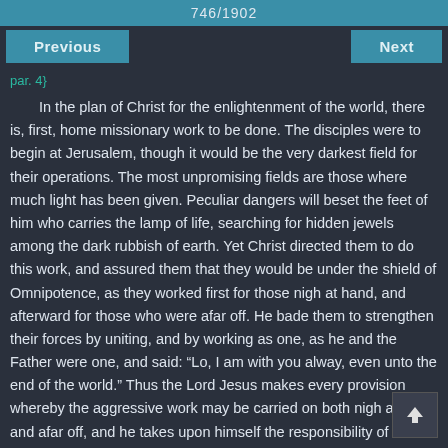746/1902
Previous    Next
par. 4}
In the plan of Christ for the enlightenment of the world, there is, first, home missionary work to be done. The disciples were to begin at Jerusalem, though it would be the very darkest field for their operations. The most unpromising fields are those where much light has been given. Peculiar dangers will beset the feet of him who carries the lamp of life, searching for hidden jewels among the dark rubbish of earth. Yet Christ directed them to do this work, and assured them that they would be under the shield of Omnipotence, as they worked first for those nigh at hand, and afterward for those who were afar off. He bade them to strengthen their forces by uniting, and by working as one, as he and the Father were one, and said: "Lo, I am with you alway, even unto the end of the world." Thus the Lord Jesus makes every provision whereby the aggressive work may be carried on both nigh at hand and afar off, and he takes upon himself the responsibility of conducting the warfare, of supplying the qualifications, and of eventually giving success to his great missionary enterprise. {RH November 6, 1894, par. 5}